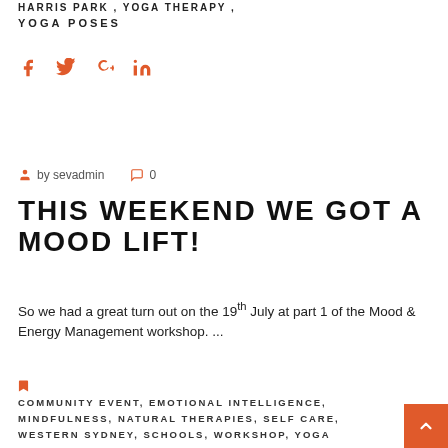HARRIS PARK, YOGA THERAPY, YOGA POSES
[Figure (other): Social media share icons: Facebook, Twitter, Google+, LinkedIn in orange]
by sevadmin   0
THIS WEEKEND WE GOT A MOOD LIFT!
So we had a great turn out on the 19th July at part 1 of the Mood & Energy Management workshop. ...
COMMUNITY EVENT, EMOTIONAL INTELLIGENCE, MINDFULNESS, NATURAL THERAPIES, SELF CARE, WESTERN SYDNEY, SCHOOLS, WORKSHOP, YOGA